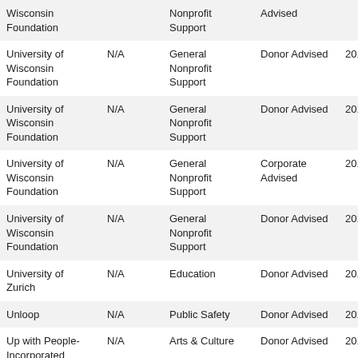| Wisconsin Foundation |  | Nonprofit Support | Advised |  |  |
| University of Wisconsin Foundation | N/A | General Nonprofit Support | Donor Advised | 2018 |  |
| University of Wisconsin Foundation | N/A | General Nonprofit Support | Donor Advised | 2018 |  |
| University of Wisconsin Foundation | N/A | General Nonprofit Support | Corporate Advised | 2018 |  |
| University of Wisconsin Foundation | N/A | General Nonprofit Support | Donor Advised | 2018 |  |
| University of Zurich | N/A | Education | Donor Advised | 2018 |  |
| Unloop | N/A | Public Safety | Donor Advised | 2018 |  |
| Up with People-Incorporated | N/A | Arts & Culture | Donor Advised | 2018 |  |